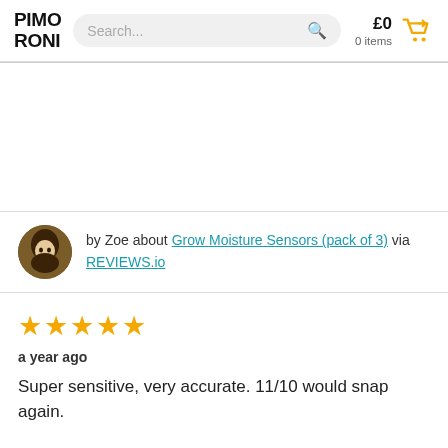PIMORONI | Search... | £0 0 items
by Zoe about Grow Moisture Sensors (pack of 3) via REVIEWS.io
★★★★★
a year ago
Super sensitive, very accurate. 11/10 would snap again.